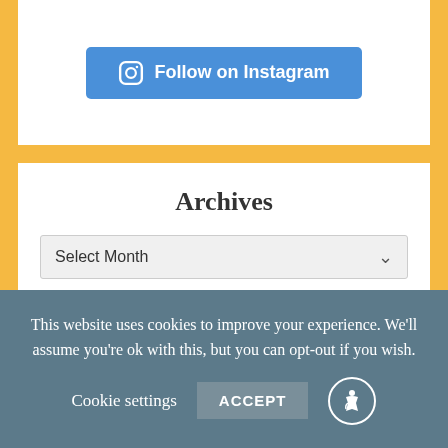[Figure (other): Blue button with Instagram camera icon labeled 'Follow on Instagram']
Archives
Select Month
[Figure (other): DMCA Protected badge: grey section with 'DMCA' text and lock icon, black section with 'PROTECTED' text]
This website uses cookies to improve your experience. We'll assume you're ok with this, but you can opt-out if you wish.
Cookie settings
ACCEPT